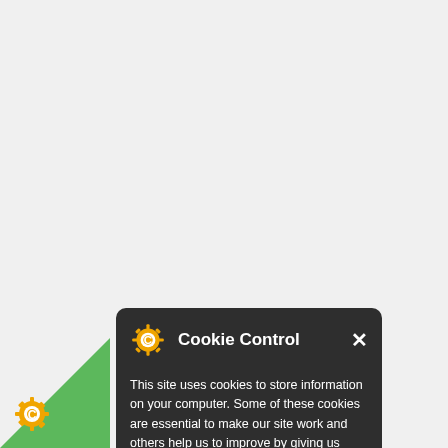[Figure (screenshot): Cookie Control popup dialog with dark background (#2e2e2e), showing a gear/cookie icon in orange, title 'Cookie Control', a close X button, descriptive text about cookies, an 'About this tool' orange link, and a 'read more' button at the bottom. A green triangle in the bottom-left corner has a cookie gear icon on it.]